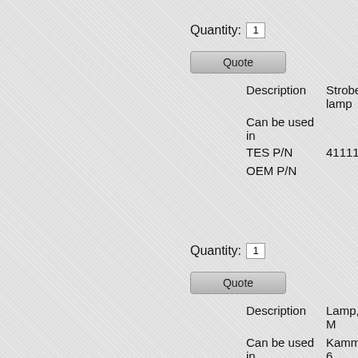Quantity: 1
[Figure (screenshot): Quote button (greyed out button)]
| Field | Value |
| --- | --- |
| Description | Strobe lamp |
| Can be used in |  |
| TES P/N | 411119 |
| OEM P/N |  |
Quantity: 1
[Figure (screenshot): Quote button (greyed out button)]
| Field | Value |
| --- | --- |
| Description | Lamp, UV M |
| Can be used in | Kammann 6 |
| TES P/N | 411201 |
| OEM P/N |  |
Quantity: 1